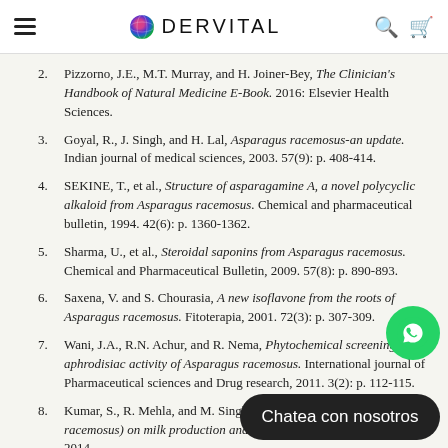DERVITAL
2. Pizzorno, J.E., M.T. Murray, and H. Joiner-Bey, The Clinician's Handbook of Natural Medicine E-Book. 2016: Elsevier Health Sciences.
3. Goyal, R., J. Singh, and H. Lal, Asparagus racemosus-an update. Indian journal of medical sciences, 2003. 57(9): p. 408-414.
4. SEKINE, T., et al., Structure of asparagamine A, a novel polycyclic alkaloid from Asparagus racemosus. Chemical and pharmaceutical bulletin, 1994. 42(6): p. 1360-1362.
5. Sharma, U., et al., Steroidal saponins from Asparagus racemosus. Chemical and Pharmaceutical Bulletin, 2009. 57(8): p. 890-893.
6. Saxena, V. and S. Chourasia, A new isoflavone from the roots of Asparagus racemosus. Fitoterapia, 2001. 72(3): p. 307-309.
7. Wani, J.A., R.N. Achur, and R. Nema, Phytochemical screening and aphrodisiac activity of Asparagus racemosus. International journal of Pharmaceutical sciences and Drug research, 2011. 3(2): p. 112-115.
8. Kumar, S., R. Mehla, and M. Singh, Effect of Shatavari (Asparagus racemosus) on milk production and Immune-modulation in Kara... 2014.
9. Karuna, D., et al., In vitro antioxidant activities of r... racemosus Linn. Journal of traditional and complementary medicine, 2018. 8(1): p. 60-65.